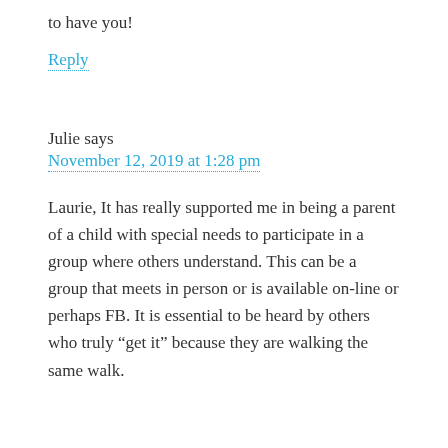to have you!
Reply
Julie says
November 12, 2019 at 1:28 pm
Laurie, It has really supported me in being a parent of a child with special needs to participate in a group where others understand. This can be a group that meets in person or is available on-line or perhaps FB. It is essential to be heard by others who truly “get it” because they are walking the same walk.